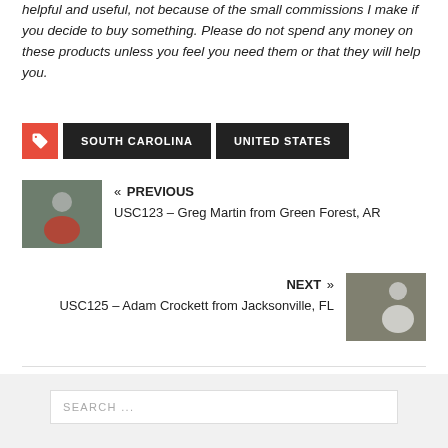helpful and useful, not because of the small commissions I make if you decide to buy something. Please do not spend any money on these products unless you feel you need them or that they will help you.
SOUTH CAROLINA
UNITED STATES
« PREVIOUS
USC123 – Greg Martin from Green Forest, AR
NEXT »
USC125 – Adam Crockett from Jacksonville, FL
SEARCH ...